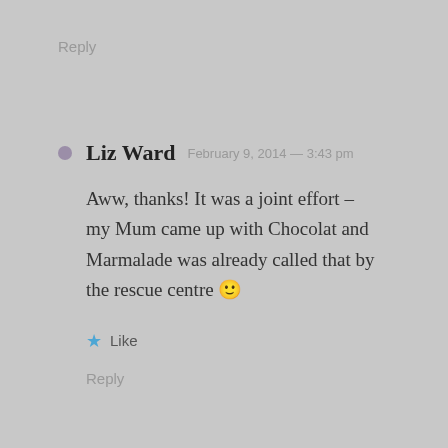Reply
Liz Ward  February 9, 2014 — 3:43 pm
Aww, thanks! It was a joint effort – my Mum came up with Chocolat and Marmalade was already called that by the rescue centre 🙂
★ Like
Reply